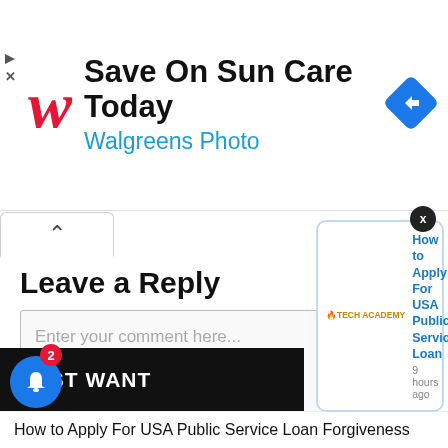[Figure (screenshot): Walgreens advertisement banner: Walgreens cursive logo in red, text 'Save On Sun Care Today' in bold black, 'Walgreens Photo' in blue, blue diamond navigation icon on right. Play and X controls on far left.]
[Figure (screenshot): Collapse tab button with upward caret/chevron symbol]
Leave a Reply
Enter your comment here...
[Figure (screenshot): MOST WANT[ED] black bar at bottom left, notification bell icon (blue circle with bell) showing badge count of 2]
[Figure (screenshot): Popup notification from Tech Academy: 'How to Apply For USA Public Service Loan' with timestamp '9 hours ago', close X button in top right]
How to Apply For USA Public Service Loan Forgiveness